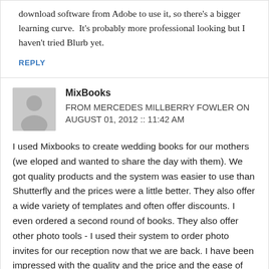download software from Adobe to use it, so there's a bigger learning curve.  It's probably more professional looking but I haven't tried Blurb yet.
REPLY
MixBooks
FROM MERCEDES MILLBERRY FOWLER ON AUGUST 01, 2012 :: 11:42 AM
I used Mixbooks to create wedding books for our mothers (we eloped and wanted to share the day with them). We got quality products and the system was easier to use than Shutterfly and the prices were a little better. They also offer a wide variety of templates and often offer discounts. I even ordered a second round of books. They also offer other photo tools - I used their system to order photo invites for our reception now that we are back. I have been impressed with the quality and the price and the ease of use. I highly recommend Mixbooks.